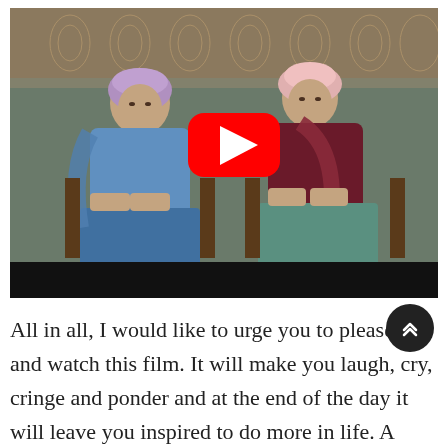[Figure (photo): Video thumbnail showing two elderly Indian women seated side by side. The woman on the left wears a blue shawl and purple head covering. The woman on the right wears a dark maroon outfit with a pink head covering and a teal/green skirt. A YouTube play button (red circle with white triangle) is overlaid in the center. A black bar appears at the bottom of the video frame. A dark round scroll-to-top button with a double chevron is visible at the right side.]
All in all, I would like to urge you to please go and watch this film. It will make you laugh, cry, cringe and ponder and at the end of the day it will leave you inspired to do more in life. A